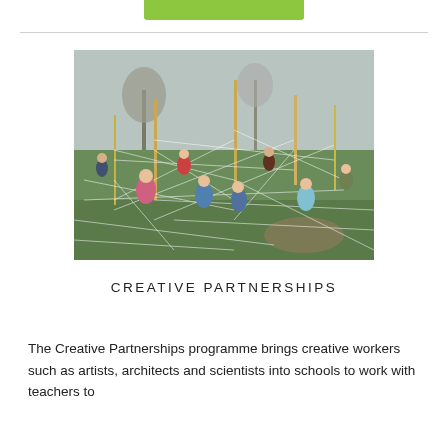[Figure (photo): Children running through a field with rope/string web installation between poles, outdoor art or science activity, overcast sky, bare trees in background]
CREATIVE PARTNERSHIPS
The Creative Partnerships programme brings creative workers such as artists, architects and scientists into schools to work with teachers to